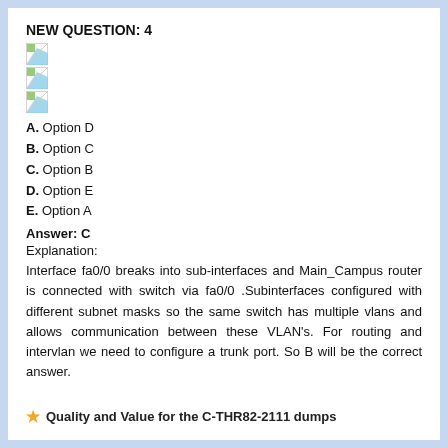NEW QUESTION: 4
[Figure (illustration): Broken/missing image placeholder 1]
[Figure (illustration): Broken/missing image placeholder 2]
[Figure (illustration): Broken/missing image placeholder 3]
A. Option D
B. Option C
C. Option B
D. Option E
E. Option A
Answer: C
Explanation:
Interface fa0/0 breaks into sub-interfaces and Main_Campus router is connected with switch via fa0/0 .Subinterfaces configured with different subnet masks so the same switch has multiple vlans and allows communication between these VLAN's. For routing and intervlan we need to configure a trunk port. So B will be the correct answer.
Quality and Value for the C-THR82-2111 dumps